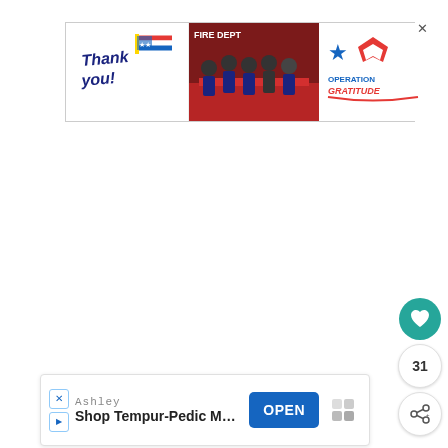[Figure (other): Top advertisement banner: 'Thank you!' text with American flag pencil on left, group of firefighters in the middle, Operation Gratitude logo on right. Has close (X) button.]
[Figure (other): Floating action buttons on the right side: teal heart/like button, count badge showing '31', share button with share icon.]
[Figure (other): Bottom advertisement banner: Ashley brand, 'Shop Tempur-Pedic Mattresses' text, OPEN button in blue, app icon on right.]